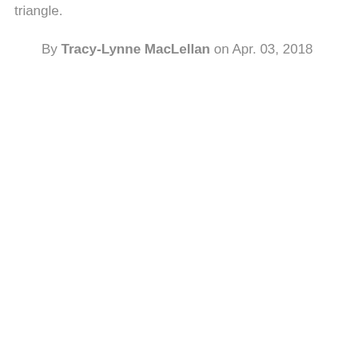triangle.
By Tracy-Lynne MacLellan on Apr. 03, 2018